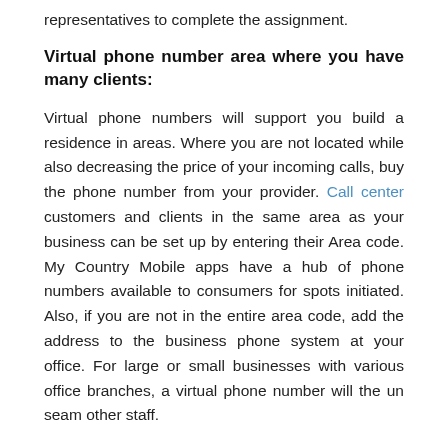representatives to complete the assignment.
Virtual phone number area where you have many clients:
Virtual phone numbers will support you build a residence in areas. Where you are not located while also decreasing the price of your incoming calls, buy the phone number from your provider. Call center customers and clients in the same area as your business can be set up by entering their Area code. My Country Mobile apps have a hub of phone numbers available to consumers for spots initiated. Also, if you are not in the entire area code, add the address to the business phone system at your office. For large or small businesses with various office branches, a virtual phone number will the un seam other staff.
Instead of receiving calls in the office, a virtual phone will